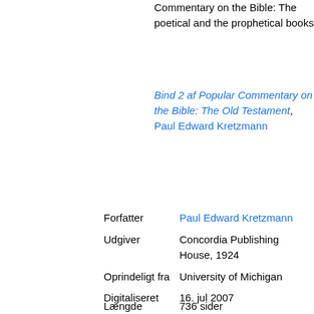Commentary on the Bible: The poetical and the prophetical books
Bind 2 af Popular Commentary on the Bible: The Old Testament, Paul Edward Kretzmann
| Label | Value |
| --- | --- |
| Forfatter | Paul Edward Kretzmann |
| Udgiver | Concordia Publishing House, 1924 |
| Oprindeligt fra | University of Michigan |
| Digitaliseret | 16. jul 2007 |
| ISBN | 0758617992, 9780758617996 |
| Længde | 736 sider |